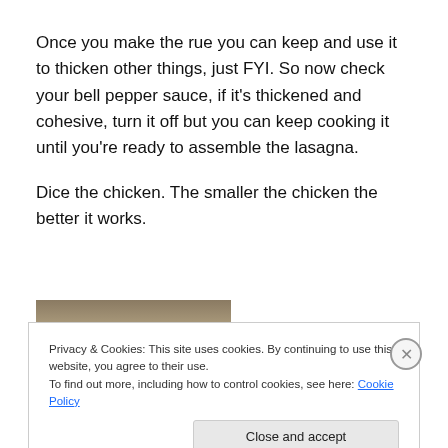Once you make the rue you can keep and use it to thicken other things, just FYI. So now check your bell pepper sauce, if it's thickened and cohesive, turn it off but you can keep cooking it until you're ready to assemble the lasagna.
Dice the chicken. The smaller the chicken the better it works.
[Figure (photo): Partial photo of food/chicken, mostly obscured by cookie consent banner]
Privacy & Cookies: This site uses cookies. By continuing to use this website, you agree to their use.
To find out more, including how to control cookies, see here: Cookie Policy